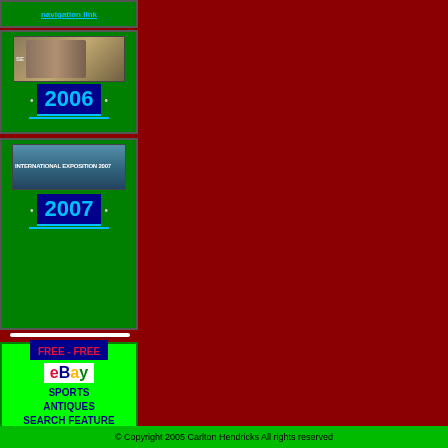[Figure (screenshot): Green navigation box with '2006' year label in blue, showing a thumbnail of a bronze sculpture/lion at an exposition]
[Figure (screenshot): Green navigation box with '2007' year label in blue, showing a thumbnail of 'INTERNATIONAL EXPOSITION 2007' text banner]
[Figure (infographic): Green box with FREE-FREE header, eBay logo, SPORTS ANTIQUES SEARCH FEATURE and CLICK HERE link]
© Copyright 2005 Carlton Hendricks All rights reserved